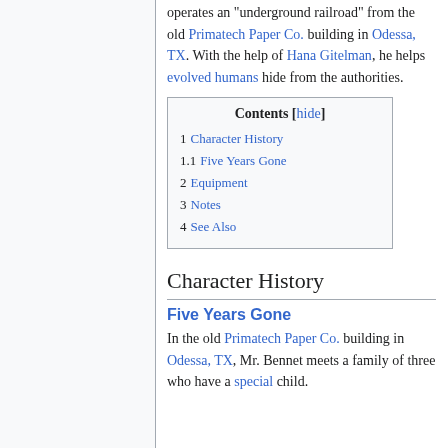operates an "underground railroad" from the old Primatech Paper Co. building in Odessa, TX. With the help of Hana Gitelman, he helps evolved humans hide from the authorities.
| Contents [hide] |
| --- |
| 1  Character History |
| 1.1  Five Years Gone |
| 2  Equipment |
| 3  Notes |
| 4  See Also |
Character History
Five Years Gone
In the old Primatech Paper Co. building in Odessa, TX, Mr. Bennet meets a family of three who have a special child.